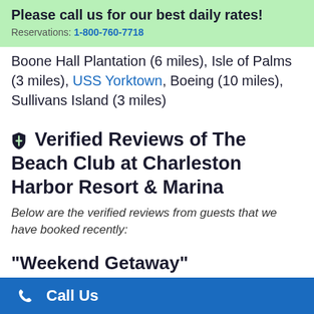Please call us for our best daily rates! Reservations: 1-800-760-7718
Boone Hall Plantation (6 miles), Isle of Palms (3 miles), USS Yorktown, Boeing (10 miles), Sullivans Island (3 miles)
Verified Reviews of The Beach Club at Charleston Harbor Resort & Marina
Below are the verified reviews from guests that we have booked recently:
"Weekend Getaway"
Overall Score: 5.0 / 5
Call Us